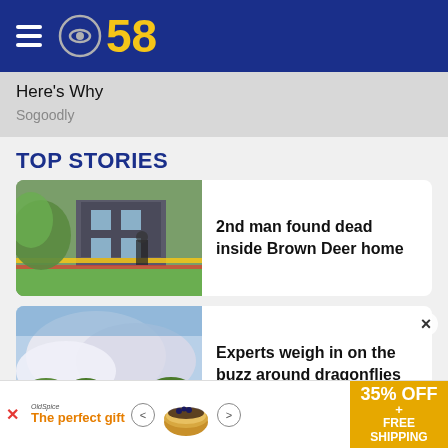[Figure (logo): CBS 58 logo with hamburger menu on dark blue header background]
Here's Why
Sogoodly
TOP STORIES
[Figure (photo): Crime scene photo of a house with yellow police tape across a lawn with flowering trees]
2nd man found dead inside Brown Deer home
[Figure (photo): Sky and cloud photo with trees at bottom, likely weather related story about dragonflies]
Experts weigh in on the buzz around dragonflies
[Figure (infographic): Advertisement banner: The perfect gift, 35% OFF + FREE SHIPPING, with bowl of food image and navigation arrows]